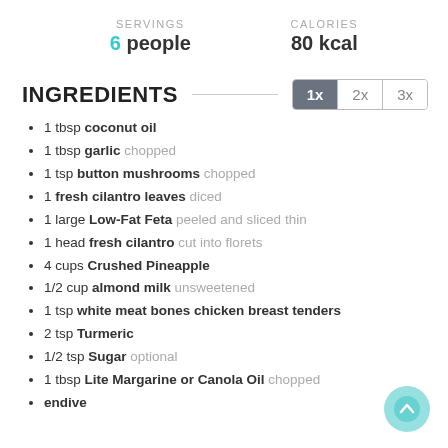SERVINGS
6 people
CALORIES
80 kcal
INGREDIENTS
1 tbsp coconut oil
1 tbsp garlic chopped
1 tsp button mushrooms chopped
1 fresh cilantro leaves diced
1 large Low-Fat Feta peeled and sliced thin
1 head fresh cilantro cut into florets
4 cups Crushed Pineapple
1/2 cup almond milk unsweetened
1 tsp white meat bones chicken breast tenders
2 tsp Turmeric
1/2 tsp Sugar optional
1 tbsp Lite Margarine or Canola Oil chopped
endive